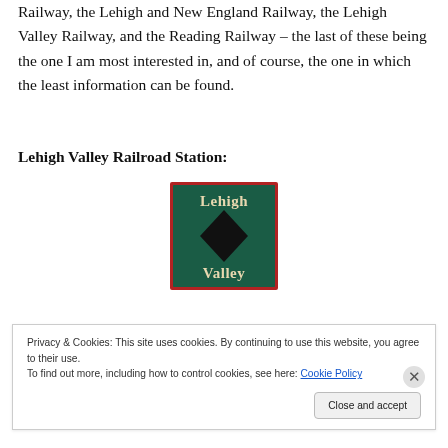Railway, the Lehigh and New England Railway, the Lehigh Valley Railway, and the Reading Railway – the last of these being the one I am most interested in, and of course, the one in which the least information can be found.
Lehigh Valley Railroad Station:
[Figure (logo): Lehigh Valley railroad logo: dark green square background with a black diamond shape in the center and white text 'Lehigh' above and 'Valley' below the diamond, with a red border outline.]
Privacy & Cookies: This site uses cookies. By continuing to use this website, you agree to their use.
To find out more, including how to control cookies, see here: Cookie Policy